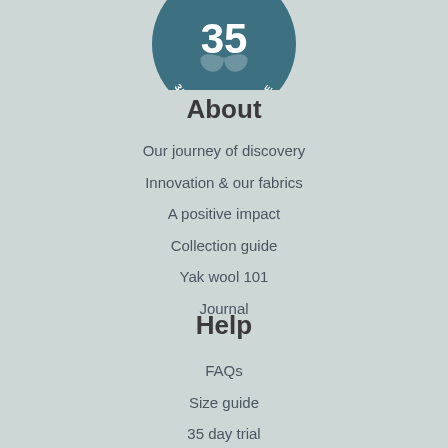[Figure (logo): Circular teal badge showing '35' in large text at top and '35 DAY GUARANTEE' in curved text along the bottom, with a decorative leaf/wing motif in the center, on a dark teal background.]
About
Our journey of discovery
Innovation & our fabrics
A positive impact
Collection guide
Yak wool 101
Journal
Help
FAQs
Size guide
35 day trial